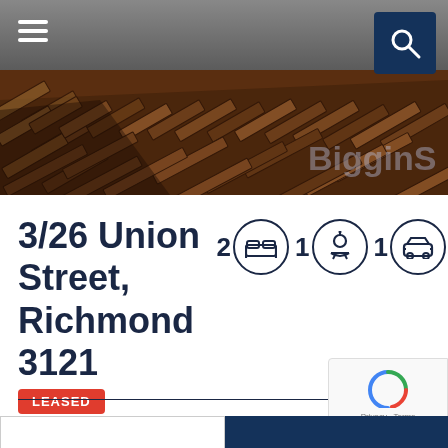[Figure (photo): Interior photo of a room with dark brown herringbone parquet wood flooring and grey walls. Biggin S watermark visible at bottom right.]
3/26 Union Street, Richmond 3121
[Figure (infographic): Property icons: 2 bedrooms (bed icon), 1 bathroom (shower icon), 1 car space (car icon)]
LEASED